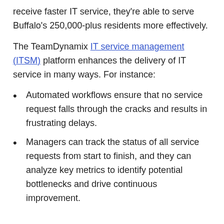receive faster IT service, they're able to serve Buffalo's 250,000-plus residents more effectively.
The TeamDynamix IT service management (ITSM) platform enhances the delivery of IT service in many ways. For instance:
Automated workflows ensure that no service request falls through the cracks and results in frustrating delays.
Managers can track the status of all service requests from start to finish, and they can analyze key metrics to identify potential bottlenecks and drive continuous improvement.